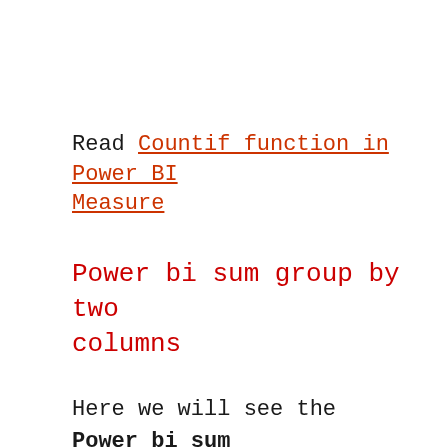Read Countif function in Power BI Measure
Power bi sum group by two columns
Here we will see the Power bi sum group by two columns using power query in power bi desktop.